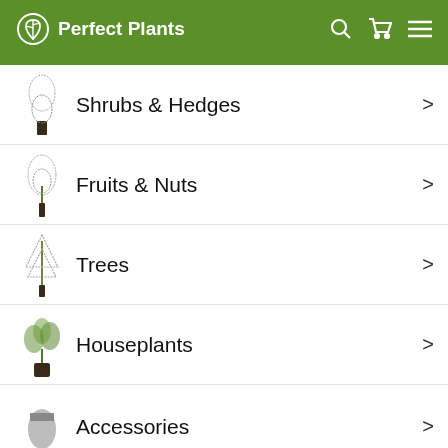Perfect Plants
Shrubs & Hedges
Fruits & Nuts
Trees
Houseplants
Accessories
Get in touch
+1 850-997-3008
Follow us